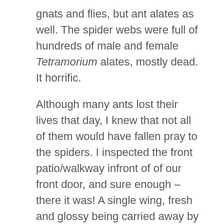gnats and flies, but ant alates as well. The spider webs were full of hundreds of male and female Tetramorium alates, mostly dead. It horrific.
Although many ants lost their lives that day, I knew that not all of them would have fallen pray to the spiders. I inspected the front patio/walkway infront of of our front door, and sure enough – there it was! A single wing, fresh and glossy being carried away by a Tetramorium worker. What was more, it was the right size and shape to be an alate wing.
I didn't have to look far to find its owner – a queen. She was beautiful, but I got there just in time. She was being attacked by two or three workers, biting on to her and attempting to drag her away. She was struggling...